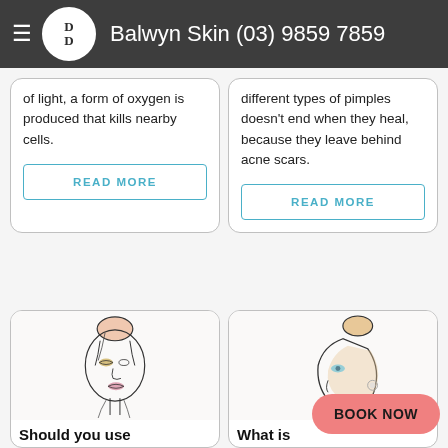Balwyn Skin (03) 9859 7859
of light, a form of oxygen is produced that kills nearby cells.
READ MORE
different types of pimples doesn't end when they heal, because they leave behind acne scars.
READ MORE
[Figure (illustration): Line art illustration of a woman's face with hair in a bun, coloured accents on eyes and lips]
Should you use
[Figure (illustration): Line art illustration of a woman's face in profile with hair in a bun, blue and tan coloured accents]
What is
BOOK NOW